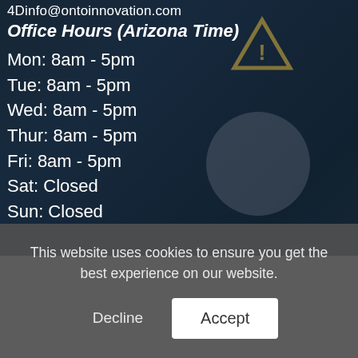4Dinfo@ontoinnovation.com
Office Hours (Arizona Time)
Mon: 8am - 5pm
Tue: 8am - 5pm
Wed: 8am - 5pm
Thur: 8am - 5pm
Fri: 8am - 5pm
Sat: Closed
Sun: Closed
This website uses cookies to ensure you get the best experience on our website.
Decline  Accept